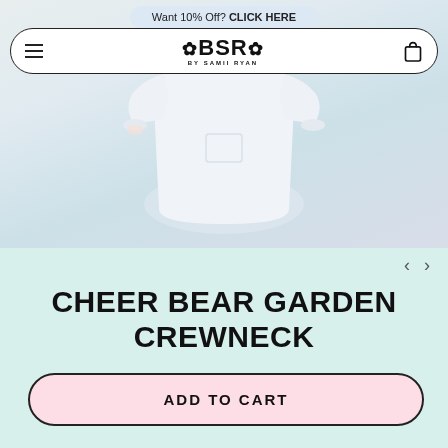Want 10% Off? CLICK HERE
[Figure (logo): BSR By Samii Ryan logo with daisy flower icons on each side]
[Figure (photo): White crewneck sweatshirt product photo on light blue background]
CHEER BEAR GARDEN CREWNECK
3 Reviews
ADD TO CART